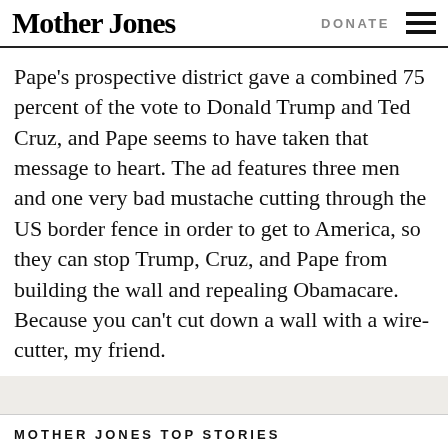Mother Jones | DONATE
Pape’s prospective district gave a combined 75 percent of the vote to Donald Trump and Ted Cruz, and Pape seems to have taken that message to heart. The ad features three men and one very bad mustache cutting through the US border fence in order to get to America, so they can stop Trump, Cruz, and Pape from building the wall and repealing Obamacare. Because you can’t cut down a wall with a wire-cutter, my friend.
MOTHER JONES TOP STORIES
[Figure (photo): Partial photo strip at bottom of page, dark blue/grey tones, appears to be a news photo]